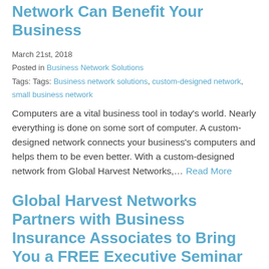Network Can Benefit Your Business
March 21st, 2018
Posted in Business Network Solutions
Tags: Tags: Business network solutions, custom-designed network, small business network
Computers are a vital business tool in today's world. Nearly everything is done on some sort of computer. A custom-designed network connects your business's computers and helps them to be even better. With a custom-designed network from Global Harvest Networks,… Read More
Global Harvest Networks Partners with Business Insurance Associates to Bring You a FREE Executive Seminar